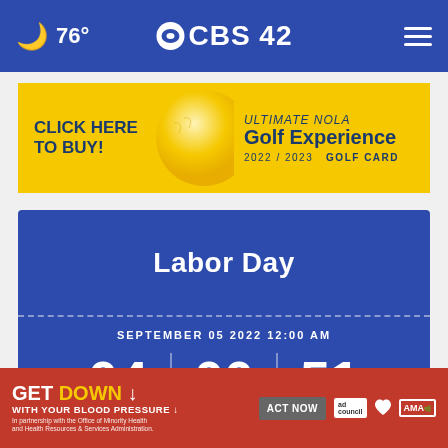76° CBS42
[Figure (infographic): CLICK HERE TO BUY! ULTIMATE NOLA Golf Experience 2022/2023 GOLF CARD advertisement banner with yellow background and golf ball image]
[Figure (infographic): Labor Day countdown timer showing SEPTEMBER 05 2022 12:00 AM with countdown numbers 04 | 00 | 51 on blue background]
[Figure (infographic): GET DOWN with your blood pressure advertisement with red background, ACT NOW button, ad council logo, heart logo, and AMA logo]